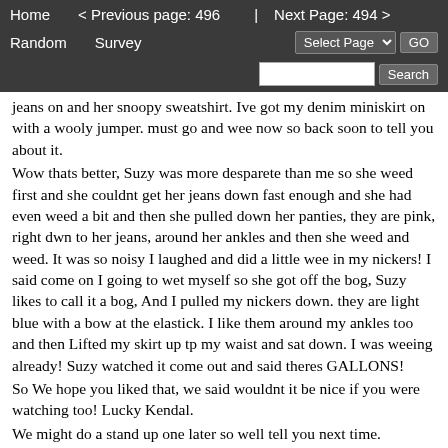Home   < Previous page: 496  |  Next Page: 494 >   Random   Survey   Select Page   GO   Search
jeans on and her snoopy sweatshirt. Ive got my denim miniskirt on with a wooly jumper. must go and wee now so back soon to tell you about it.
Wow thats better, Suzy was more desparete than me so she weed first and she couldnt get her jeans down fast enough and she had even weed a bit and then she pulled down her panties, they are pink, right dwn to her jeans, around her ankles and then she weed and weed. It was so noisy I laughed and did a little wee in my nickers! I said come on I going to wet myself so she got off the bog, Suzy likes to call it a bog, And I pulled my nickers down. they are light blue with a bow at the elastick. I like them around my ankles too and then Lifted my skirt up tp my waist and sat down. I was weeing already! Suzy watched it come out and said theres GALLONS!
So We hope you liked that, we said wouldnt it be nice if you were watching too! Lucky Kendal.
We might do a stand up one later so well tell you next time.
Love to you and Kendal from Nicole and Suzy the